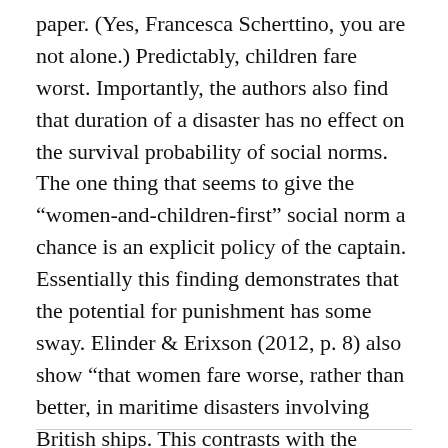paper. (Yes, Francesca Scherttino, you are not alone.) Predictably, children fare worst. Importantly, the authors also find that duration of a disaster has no effect on the survival probability of social norms. The one thing that seems to give the “women-and-children-first” social norm a chance is an explicit policy of the captain. Essentially this finding demonstrates that the potential for punishment has some sway. Elinder & Erixson (2012, p. 8) also show “that women fare worse, rather than better, in maritime disasters involving British ships. This contrasts with the notion of British men being more gallant than men of other nationalities.”